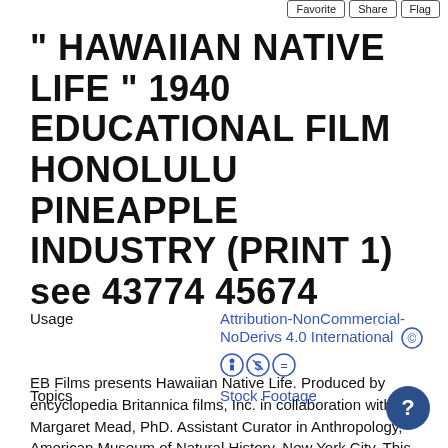Favorite | Share | Flag
" HAWAIIAN NATIVE LIFE " 1940 EDUCATIONAL FILM HONOLULU  PINEAPPLE INDUSTRY (PRINT 1) see 43774 45674
Usage   Attribution-NonCommercial-NoDerivs 4.0 International (cc icons)
Topics   Stock Footage
EB Films presents Hawaiian Native Life. Produced by encyclopedia Britannica films, Inc. in collaboration with Margaret Mead, PhD. Assistant Curator in Anthropology, American Museum of Natural History, New York City. This black and white film produced in 1940 is about native life on the islands of Hawaii. This black and white, 1930's era film is about local life in the Hawaiian Islands. The film is narrated. So. There are images with a special view of of local characters it